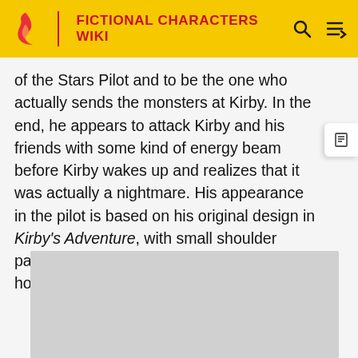FICTIONAL CHARACTERS WIKI
of the Stars Pilot and to be the one who actually sends the monsters at Kirby. In the end, he appears to attack Kirby and his friends with some kind of energy beam before Kirby wakes up and realizes that it was actually a nightmare. His appearance in the pilot is based on his original design in Kirby's Adventure, with small shoulder pads, a single jewel on his crown, and short horns.
[Figure (photo): Gray placeholder image area at the bottom of the page]